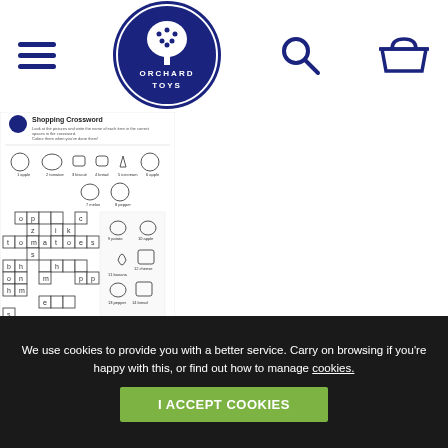Orchard Toys navigation header with hamburger menu, logo, search, and basket icons
[Figure (illustration): Shopping Crossword worksheet thumbnail showing a crossword puzzle with food/shopping items and illustrated icons of fruits, vegetables, and food items around the grid]
Can you complete this fun crossword?
Free download
First Word...
We use cookies to provide you with a better service. Carry on browsing if you're happy with this, or find out how to manage cookies.
I ACCEPT COOKIES